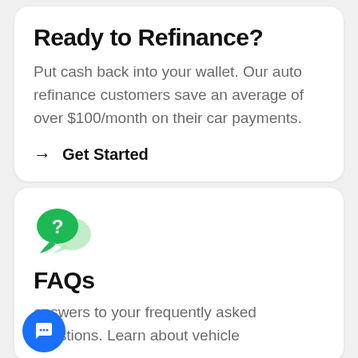Ready to Refinance?
Put cash back into your wallet. Our auto refinance customers save an average of over $100/month on their car payments.
→ Get Started
[Figure (illustration): Green speech bubble icon with a question mark, suggesting FAQ or help section]
FAQs
answers to your frequently asked questions. Learn about vehicle